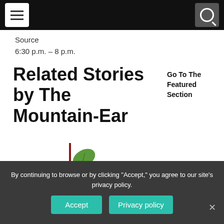Navigation bar with menu and search buttons
Source
6:30 p.m. – 8 p.m.
Related Stories by The Mountain-Ear
Go To The Featured Section
[Figure (illustration): Letters to the [Editor] logo illustration with decorative red lettering, a green leaf, and envelope graphics]
By continuing to browse or by clicking "Accept," you agree to our site's privacy policy.
Accept   Privacy policy